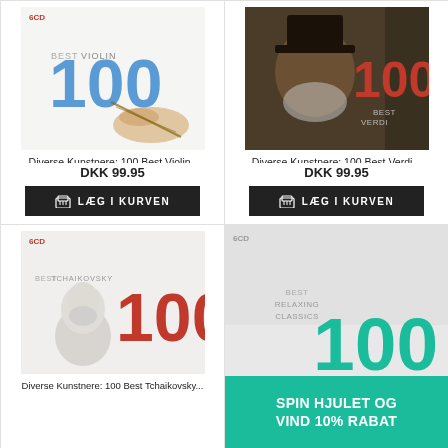[Figure (illustration): Album cover: 100 Best Violin - light background with violin image, '6CD' badge, 'BEST VIOLIN' text and large '100' in blue]
Diverse Kunstnere: 100 Best Violin..
DKK 99.95
LÆG I KURVEN
[Figure (illustration): Album cover: 100 Best Verdi - portrait of Verdi with top hat, '6CD' badge, 'BEST VERDI' text and large '100' in red]
Diverse Kunstnere: 100 Best Verdi ..
DKK 99.95
LÆG I KURVEN
[Figure (illustration): Album cover: 100 Best Tchaikovsky - bust sculpture of Tchaikovsky, '6CD' badge, 'BEST TCHAIKOVSKY' text and large '100' in red]
Diverse Kunstnere: 100 Best Tchaikovsky..
[Figure (illustration): Album cover: 100 Best Relaxing Classics - light background, '6CD' badge, 'BEST RELAXING CLASSICS' text and large '100' in teal, with spin wheel promo overlay]
SPIN HJULET OG VIND 10% RABAT